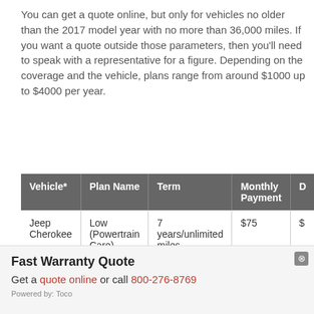You can get a quote online, but only for vehicles no older than the 2017 model year with no more than 36,000 miles. If you want a quote outside those parameters, then you'll need to speak with a representative for a figure. Depending on the coverage and the vehicle, plans range from around $1000 up to $4000 per year.
| Vehicle* | Plan Name | Term | Monthly Payment | D |
| --- | --- | --- | --- | --- |
| Jeep Cherokee | Low (Powertrain Care) | 7 years/unlimited miles | $75 | $ |
Fast Warranty Quote
Get a quote online or call 800-276-8769
Powered by: Toco